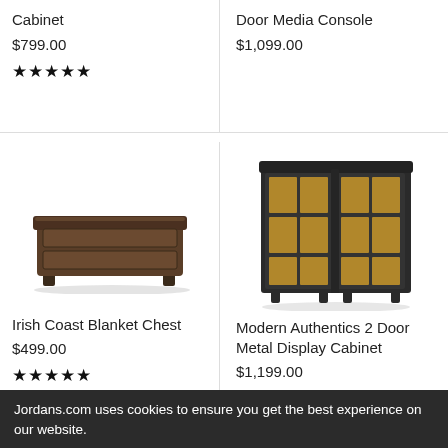Cabinet
$799.00
★★★★★
Door Media Console
$1,099.00
[Figure (photo): Irish Coast Blanket Chest - a dark brown wooden blanket chest with horizontal panel design]
Irish Coast Blanket Chest
$499.00
★★★★★
[Figure (photo): Modern Authentics 2 Door Metal Display Cabinet - a dark metal cabinet with glass doors showing gold/amber interior shelves in a grid pattern]
Modern Authentics 2 Door Metal Display Cabinet
$1,199.00
Jordans.com uses cookies to ensure you get the best experience on our website.